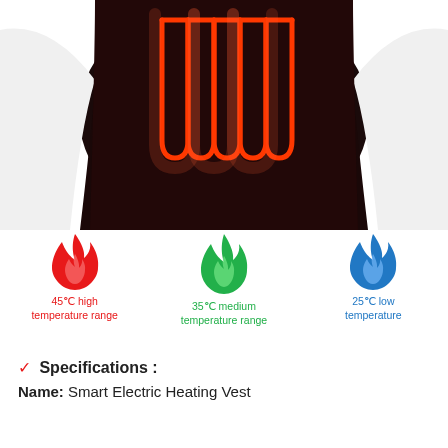[Figure (photo): Person wearing a black heated vest from behind, showing orange/red sinusoidal heating element pattern on the back panel. White long sleeves visible at sides.]
[Figure (infographic): Three flame icons side by side: red flame labeled '45°C high temperature range', green flame labeled '35°C medium temperature range', blue flame labeled '25°C low temperature']
✓ Specifications :
Name: Smart Electric Heating Vest